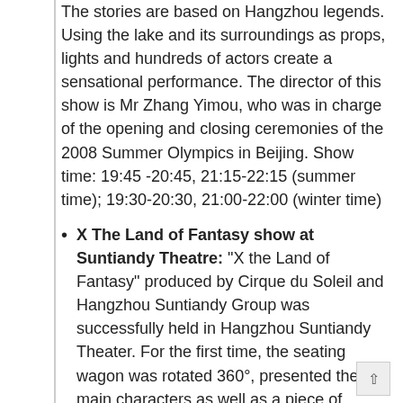The stories are based on Hangzhou legends. Using the lake and its surroundings as props, lights and hundreds of actors create a sensational performance. The director of this show is Mr Zhang Yimou, who was in charge of the opening and closing ceremonies of the 2008 Summer Olympics in Beijing. Show time: 19:45 -20:45, 21:15-22:15 (summer time); 19:30-20:30, 21:00-22:00 (winter time)
X The Land of Fantasy show at Suntiandy Theatre: "X the Land of Fantasy" produced by Cirque du Soleil and Hangzhou Suntiandy Group was successfully held in Hangzhou Suntiandy Theater. For the first time, the seating wagon was rotated 360°, presented the main characters as well as a piece of "spoiler." Show time: Wednesday to Sunday, 19:30 to 21:10.